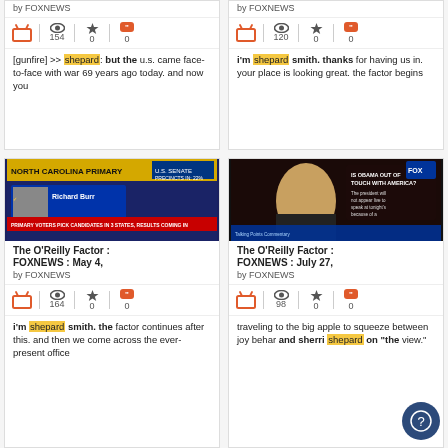[Figure (screenshot): Top-left card partial: FOXNEWS entry with TV/eye/star/quote icons showing 154, 0, 0. Text excerpt: [gunfire] >> shepard: but the u.s. came face-to-face with war 69 years ago today. and now you]
[Figure (screenshot): Top-right card partial: FOXNEWS entry with TV/eye/star/quote icons showing 120, 0, 0. Text excerpt: i'm shepard smith. thanks for having us in. your place is looking great. the factor begins]
[Figure (screenshot): Bottom-left card: The O'Reilly Factor : FOXNEWS : May 4, by FOXNEWS, icons 164, 0, 0. Thumbnail of North Carolina Primary election results screen. Text: i'm shepard smith. the factor continues after this. and then we come across the ever-present office]
[Figure (screenshot): Bottom-right card: The O'Reilly Factor : FOXNEWS : July 27, by FOXNEWS, icons 98, 0, 0. Thumbnail of female news anchor. Text: traveling to the big apple to squeeze between joy behar and sherri shepard on the view.]